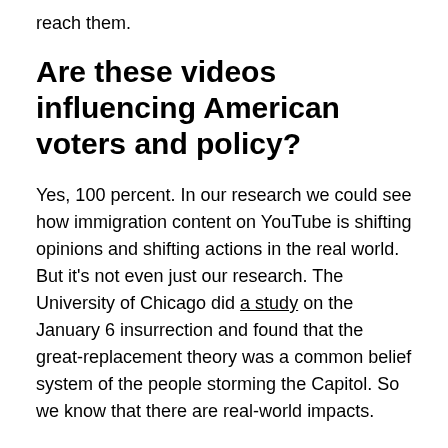reach them.
Are these videos influencing American voters and policy?
Yes, 100 percent. In our research we could see how immigration content on YouTube is shifting opinions and shifting actions in the real world. But it's not even just our research. The University of Chicago did a study on the January 6 insurrection and found that the great-replacement theory was a common belief system of the people storming the Capitol. So we know that there are real-world impacts.
Generally, I think there's still this idea that it's really fringe and out there. But what we saw, and I think this is where media personalities like Tucker Carlson come